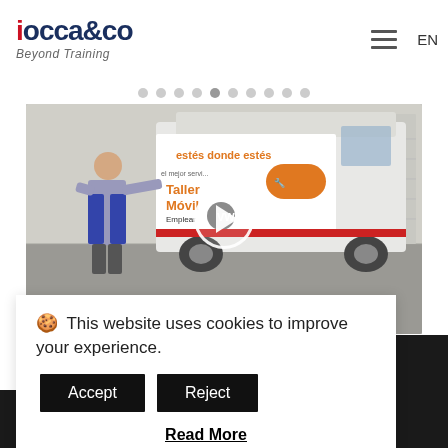[Figure (logo): iocca&co logo with 'Beyond Training' tagline. The 'i' is red, rest is dark navy.]
[Figure (screenshot): Video thumbnail showing a man in work uniform next to a white Volkswagen van branded 'Taller Móvil' with text 'estés donde estés'. A circular play button is overlaid in the center.]
🍪 This website uses cookies to improve your experience.
Accept
Reject
Read More